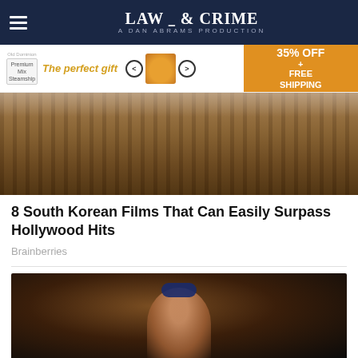LAW & CRIME — A DAN ABRAMS PRODUCTION
[Figure (screenshot): Advertisement banner: The perfect gift, 35% OFF + FREE SHIPPING]
[Figure (photo): Hero image showing children behind a wooden fence/railing]
8 South Korean Films That Can Easily Surpass Hollywood Hits
Brainberries
[Figure (photo): A superhero character (Ms. Marvel) wearing a blue mask with hair flowing]
[Figure (screenshot): Partial view of another image with a close/X button overlay]